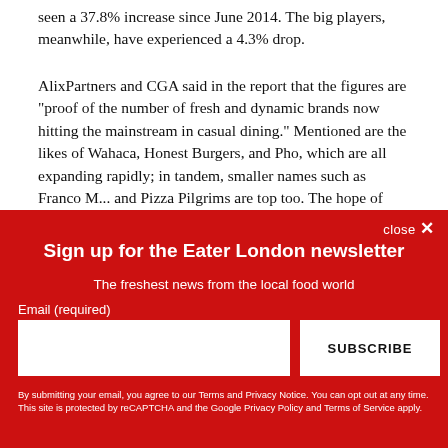seen a 37.8% increase since June 2014. The big players, meanwhile, have experienced a 4.3% drop.
AlixPartners and CGA said in the report that the figures are "proof of the number of fresh and dynamic brands now hitting the mainstream in casual dining." Mentioned are the likes of Wahaca, Honest Burgers, and Pho, which are all expanding rapidly; in tandem, smaller names such as Franco M... and Pizza Pilgrims are top too. The hope of
close ✕
Sign up for the Eater London newsletter
The freshest news from the local food world
Email (required)
SUBSCRIBE
By submitting your email, you agree to our Terms and Privacy Notice. You can opt out at any time. This site is protected by reCAPTCHA and the Google Privacy Policy and Terms of Service apply.